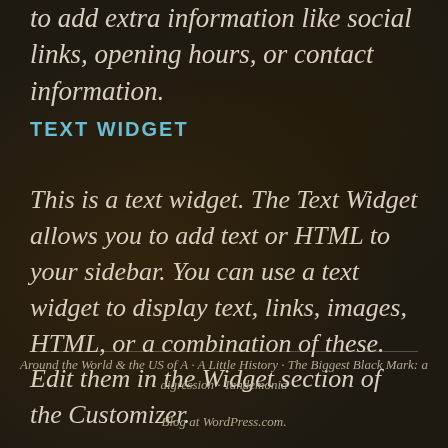to add extra information like social links, opening hours, or contact information.
TEXT WIDGET
This is a text widget. The Text Widget allows you to add text or HTML to your sidebar. You can use a text widget to display text, links, images, HTML, or a combination of these. Edit them in the Widget section of the Customizer.
Around the World & the US of A · A Little History · The Biggest Black Mark: a digression · Tandemonia
Blog at WordPress.com.